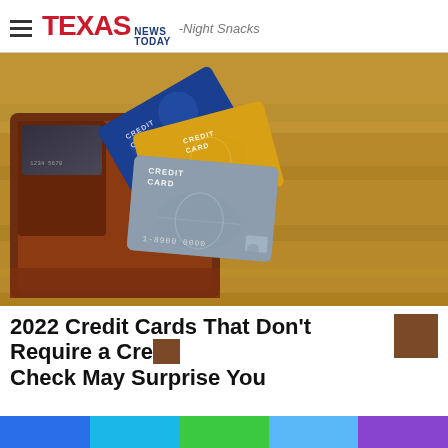Texas News Today
[Figure (photo): Brown leather wallet open with three credit cards fanned out on a wooden table surface. Cards labeled CREDIT CARD in blue, gold, and gray/silver colors.]
2022 Credit Cards That Don't Require a Credit Check May Surprise You